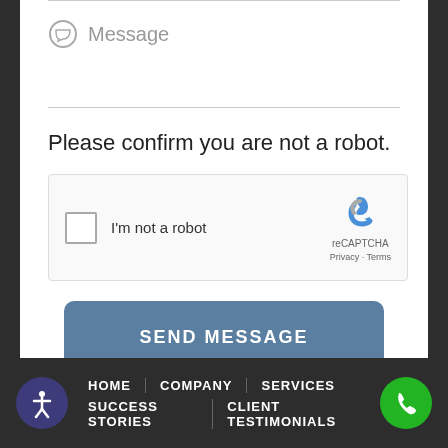Message
Please confirm you are not a robot.
[Figure (other): reCAPTCHA widget with checkbox labeled 'I'm not a robot' and reCAPTCHA logo with Privacy and Terms links]
SEND MESSAGE
HOME | COMPANY | SERVICES | SUCCESS STORIES | CLIENT TESTIMONIALS